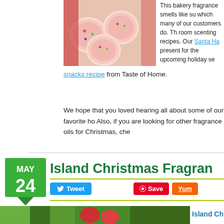[Figure (photo): Photo of pink frosted sugar cookies with colorful sprinkles]
This bakery fragrance smells like su which many of our customers do. Th room scenting recipes. Our Santa Ha present for the upcoming holiday se snacks recipe from Taste of Home.
We hope that you loved hearing all about some of our favorite ho Also, if you are looking for other fragrance oils for Christmas, che
Island Christmas Fragran
Tweet
Save
Yum